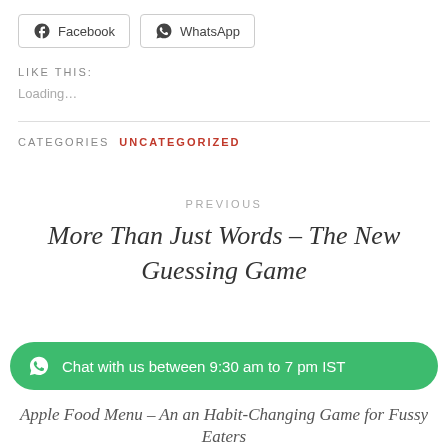Facebook  WhatsApp
LIKE THIS:
Loading...
CATEGORIES  UNCATEGORIZED
PREVIOUS
More Than Just Words – The New Guessing Game
Chat with us between 9:30 am to 7 pm IST
Apple Food Menu – An an Habit-Changing Game for Fussy Eaters